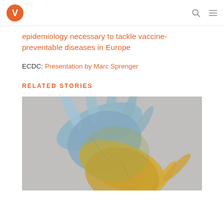Vaccine Today logo, search icon, menu icon
epidemiology necessary to tackle vaccine-preventable diseases in Europe
ECDC: Presentation by Marc Sprenger
RELATED STORIES
[Figure (photo): Two hands painted in blue and yellow (Ukrainian flag colors) overlapping each other against a grey background]